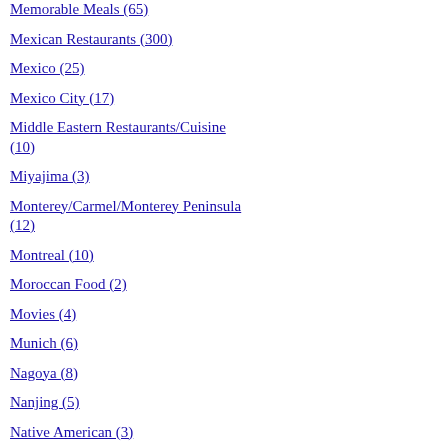Memorable Meals (65)
Mexican Restaurants (300)
Mexico (25)
Mexico City (17)
Middle Eastern Restaurants/Cuisine (10)
Miyajima (3)
Monterey/Carmel/Monterey Peninsula (12)
Montreal (10)
Moroccan Food (2)
Movies (4)
Munich (6)
Nagoya (8)
Nanjing (5)
Native American (3)
Nepalese/Himalayan Food (3)
Netherlands (5)
Niu Rou Mian (21)
to the Bay Area. In fact, the Missus is already planning a return....for mo
Thanks for reading!
Kirk K on Tuesday, 12 January 2016 in Chinese Res... Sonoma Counties, San Francisco and Silicon Valley
Comments
the chocolates sound good!
Posted by: kat | Tuesday, 12 January
I met some friends for dim sum remember the food, but it was r... Kong Flower Lounge isn't too fa
Posted by: Sandy | Wednesday, 13 J
Mmm... I would have added the
Posted by: San @ hungryones | W...